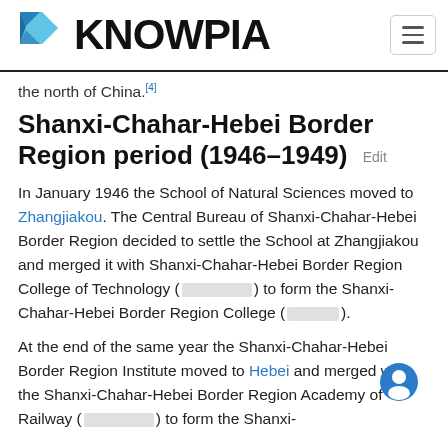KNOWPIA
the north of China.[4]
Shanxi-Chahar-Hebei Border Region period (1946–1949) Edit
In January 1946 the School of Natural Sciences moved to Zhangjiakou. The Central Bureau of Shanxi-Chahar-Hebei Border Region decided to settle the School at Zhangjiakou and merged it with Shanxi-Chahar-Hebei Border Region College of Technology ( [Chinese] ) to form the Shanxi-Chahar-Hebei Border Region College ( [Chinese] ).
At the end of the same year the Shanxi-Chahar-Hebei Border Region Institute moved to Hebei and merged with the Shanxi-Chahar-Hebei Border Region Academy of Railway ( [Chinese] ) to form the Shanxi-...